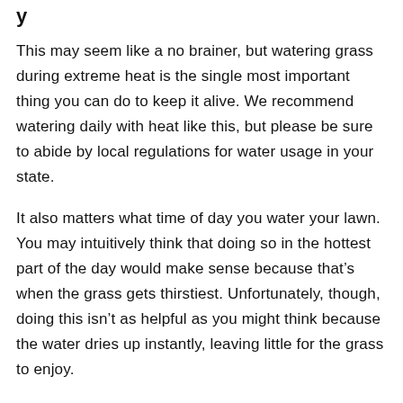y
This may seem like a no brainer, but watering grass during extreme heat is the single most important thing you can do to keep it alive. We recommend watering daily with heat like this, but please be sure to abide by local regulations for water usage in your state.
It also matters what time of day you water your lawn. You may intuitively think that doing so in the hottest part of the day would make sense because that’s when the grass gets thirstiest. Unfortunately, though, doing this isn’t as helpful as you might think because the water dries up instantly, leaving little for the grass to enjoy.
Try to water the grass after the hottest part of the